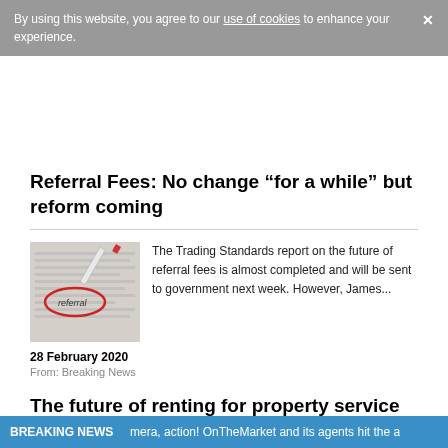By using this website, you agree to our use of cookies to enhance your experience.
Referral Fees: No change “for a while” but reform coming
[Figure (photo): Close-up photograph showing the word 'referral' circled in red on printed text, with a pen nearby.]
The Trading Standards report on the future of referral fees is almost completed and will be sent to government next week. However, James...
28 February 2020
From: Breaking News
The future of renting for property service providers
[Figure (photo): MovePal logo and image related to the future of renting article.]
The property management industry is evolving at a rapid pace, thanks almost entirely to the rise in PropTech. Hundreds, if not thousands...
BREAKING NEWS  mera, action! OnTheMarket and its agents hit the a